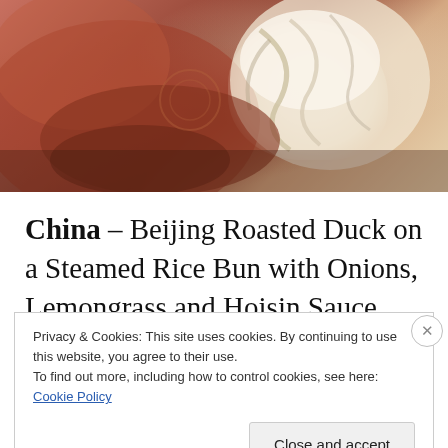[Figure (photo): Close-up photo of Beijing Roasted Duck on a steamed rice bun with white noodles/onions, warm tones of orange, red, and cream]
China – Beijing Roasted Duck on a Steamed Rice Bun with Onions, Lemongrass and Hoisin Sauce paired with a Kung Fu Punch. Still my hands-down favorite dish three years in the running!
REPORT THIS AD
Privacy & Cookies: This site uses cookies. By continuing to use this website, you agree to their use.
To find out more, including how to control cookies, see here: Cookie Policy
Close and accept